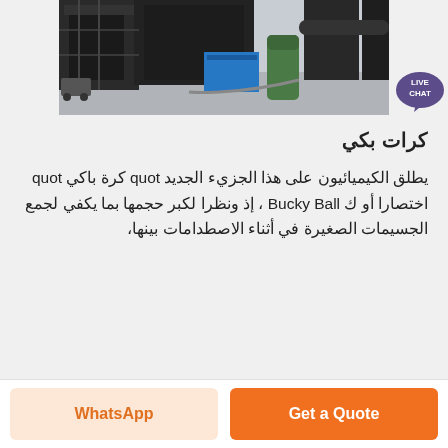[Figure (photo): Industrial machinery/equipment photo showing large dark metal structures, a blue container, a green tank, and various industrial components on a concrete surface.]
كرات بكي
يطلق الكيميائيون على هذا الجزيء الجديد quot كرة باكي quot اختصارا أو ك Bucky Ball ، إذ ونظرا لكبر حجمها بما يكفي لجمع الجسيمات الصغيرة في أثناء الاصطدامات بينها،
[Figure (other): Live Chat badge - purple speech bubble with LIVE CHAT text]
WhatsApp
Get a Quote